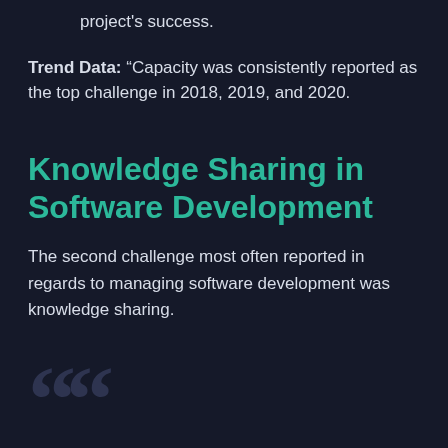project's success.
Trend Data: “Capacity was consistently reported as the top challenge in 2018, 2019, and 2020.
Knowledge Sharing in Software Development
The second challenge most often reported in regards to managing software development was knowledge sharing.
““